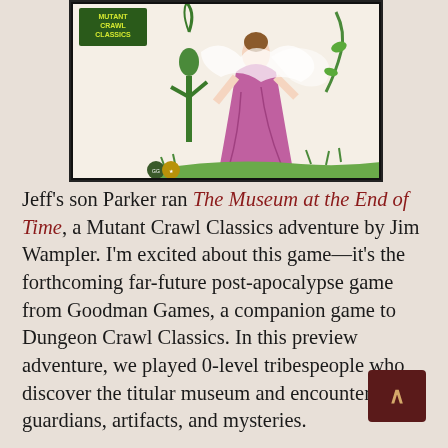[Figure (illustration): Book cover for Mutant Crawl Classics showing a woman in a flowing pink/magenta dress with green alien/plant creature, smoke or mist around her, grass at the base, small publisher logos at bottom left. Logo reads 'MUTANT CRAWL CLASSICS' in green text top left.]
Jeff's son Parker ran The Museum at the End of Time, a Mutant Crawl Classics adventure by Jim Wampler. I'm excited about this game—it's the forthcoming far-future post-apocalypse game from Goodman Games, a companion game to Dungeon Crawl Classics. In this preview adventure, we played 0-level tribespeople who discover the titular museum and encounter its guardians, artifacts, and mysteries.